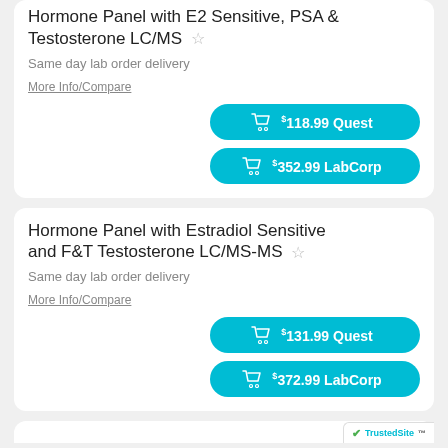Hormone Panel with E2 Sensitive, PSA & Testosterone LC/MS
Same day lab order delivery
More Info/Compare
$118.99 Quest
$352.99 LabCorp
Hormone Panel with Estradiol Sensitive and F&T Testosterone LC/MS-MS
Same day lab order delivery
More Info/Compare
$131.99 Quest
$372.99 LabCorp